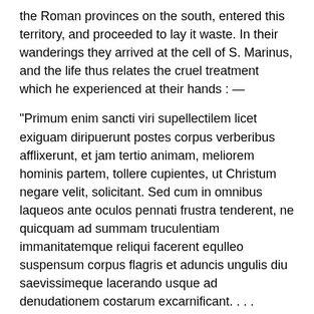the Roman provinces on the south, entered this territory, and proceeded to lay it waste. In their wanderings they arrived at the cell of S. Marinus, and the life thus relates the cruel treatment which he experienced at their hands : —
"Primum enim sancti viri supellectilem licet exiguam diripuerunt postes corpus verberibus afflixerunt, et jam tertio animam, meliorem hominis partem, tollere cupientes, ut Christum negare velit, solicitant. Sed cum in omnibus laqueos ante oculos pennati frustra tenderent, ne quicquam ad summam truculentiam immanitatemque reliqui facerent equlleo suspensum corpus flagris et aduncis ungulis diu saevissimeque lacerando usque ad denudationem costarum excarnificant. . . . Desperantes igitur victoriam, sententiam mortis super eam pronunciant, igni adjudicant. Continuo ergo, celeri manu ligna congerunt, struem componunt maximam, igni succendunt, et S. Martyrem, aridis ruderibus dorso alligatis (quo